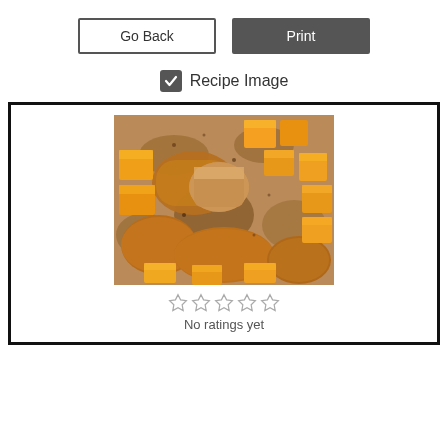Go Back
Print
Recipe Image
[Figure (photo): Roasted butternut squash cubes on a baking tray, seasoned with spices]
No ratings yet